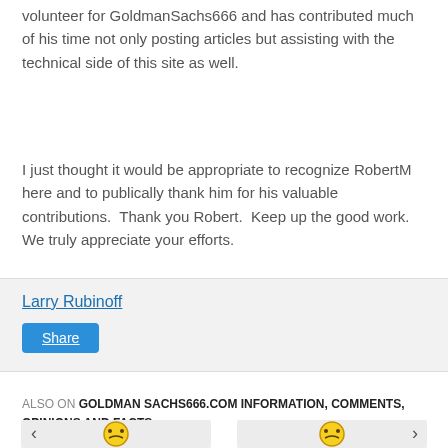volunteer for GoldmanSachs666 and has contributed much of his time not only posting articles but assisting with the technical side of this site as well.
I just thought it would be appropriate to recognize RobertM here and to publically thank him for his valuable contributions.  Thank you Robert.  Keep up the good work.  We truly appreciate your efforts.
Larry Rubinoff
Share
ALSO ON GOLDMAN SACHS666.COM INFORMATION, COMMENTS, OPINIONS AND FACTS
[Figure (illustration): Two yellow worried/stressed emoticon faces with hands on cheeks, shown side by side with left and right navigation arrows]